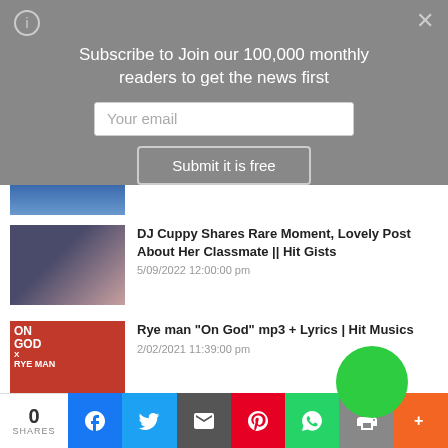Subscribe to Join our 100,000 monthly readers to get the news first
Your email
Submit it is free
[Figure (screenshot): Partial thumbnail of an article at top]
[Figure (photo): Thumbnail photo for DJ Cuppy article]
DJ Cuppy Shares Rare Moment, Lovely Post About Her Classmate || Hit Gists
5/09/2022 12:00:00 pm
[Figure (photo): Thumbnail for Rye man On God article, red background with text ON GOD RYE MAN]
Rye man "On God" mp3 + Lyrics | Hit Musics
2/02/2021 11:39:00 pm
[Figure (photo): Thumbnail for Rema Rave and Roses album]
Rema Rave and Roses Album Zip Download || Hit Musics
0 SHARES